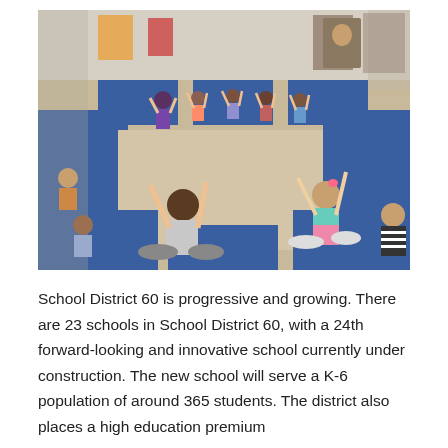[Figure (photo): Children sitting on blue yoga mats in a school gymnasium with their hands raised, participating in a group activity or yoga class. A teacher in purple is visible among the students.]
School District 60 is progressive and growing. There are 23 schools in School District 60, with a 24th forward-looking and innovative school currently under construction. The new school will serve a K-6 population of around 365 students. The district also places a high education premium...